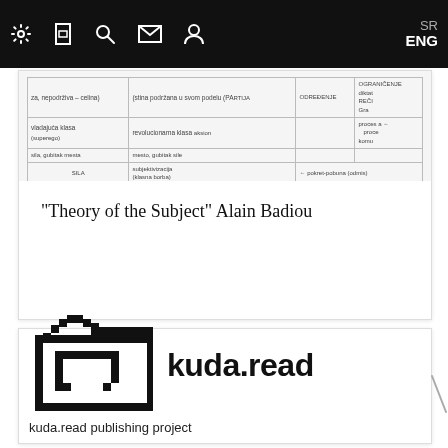SR ENG (navigation bar with settings, bookmark, search, mail, user icons)
[Figure (other): Scanned diagram page from 'Theory of the Subject' by Alain Badiou with Serbian text labels including: vladajuća klasa, (superego), sila, gubitak mesta, SILA, PARTIJA, revolucionarna klasa, mesto, gubitak sile, subjektivizacija, (klasna borba), PARTIJA, ODREĐENJE, pokret-pobuna (odmis), nestanak-rat (headcount), diktat, REČI, Gra, komun, OGRANIČENJE, proces a, process]
"Theory of the Subject" Alain Badiou
[Figure (logo): kuda.read logo: pixelated folder icon on left, bold text 'kuda.read' on right]
kuda.read publishing project